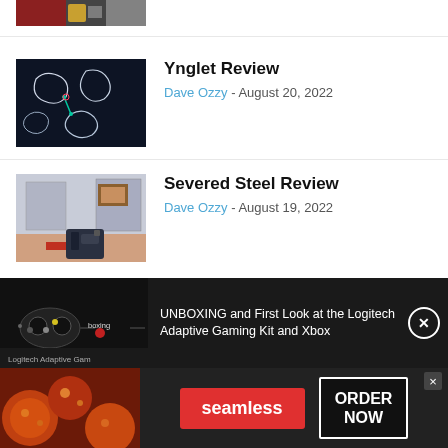[Figure (screenshot): Partial game screenshot at top, cropped]
Ynglet Review
Dave Ozzy - August 20, 2022
[Figure (screenshot): Ynglet game screenshot showing dark background with glowing white irregular shapes]
Severed Steel Review
Dave Ozzy - August 19, 2022
[Figure (screenshot): Severed Steel first-person shooter game screenshot]
[Figure (other): Video ad banner: UNBOXING and First Look at the Logitech Adaptive Gaming Kit and Xbox — with controller image]
[Figure (other): Seamless food delivery advertisement with ORDER NOW button]